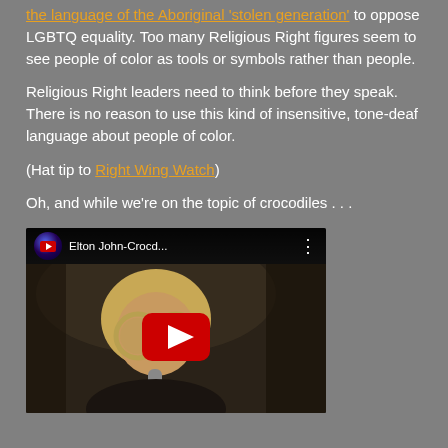the language of the Aboriginal 'stolen generation' to oppose LGBTQ equality. Too many Religious Right figures seem to see people of color as tools or symbols rather than people.
Religious Right leaders need to think before they speak. There is no reason to use this kind of insensitive, tone-deaf language about people of color.
(Hat tip to Right Wing Watch)
Oh, and while we're on the topic of crocodiles . . .
[Figure (screenshot): YouTube video embed showing Elton John-Crocd... with a person wearing large round glasses at a microphone, red play button in the center, YouTube logo icon in top-left corner of video player]